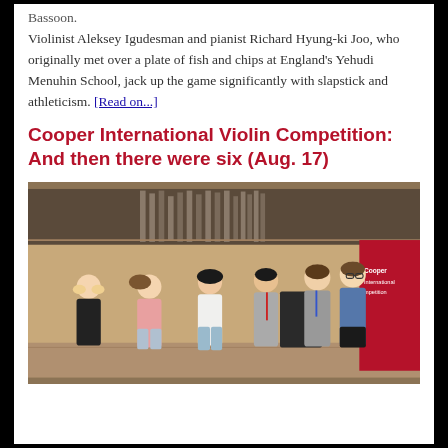Bassoon. Violinist Aleksey Igudesman and pianist Richard Hyung-ki Joo, who originally met over a plate of fish and chips at England's Yehudi Menuhin School, jack up the game significantly with slapstick and athleticism. [Read on...]
Cooper International Violin Competition: And then there were six (Aug. 17)
[Figure (photo): Six young violinists standing on a concert hall stage in front of large pipe organ and wood-paneled walls. A red Cooper International Competition banner is visible on the right. Three girls on the left wearing casual clothes, three boys on the right.]